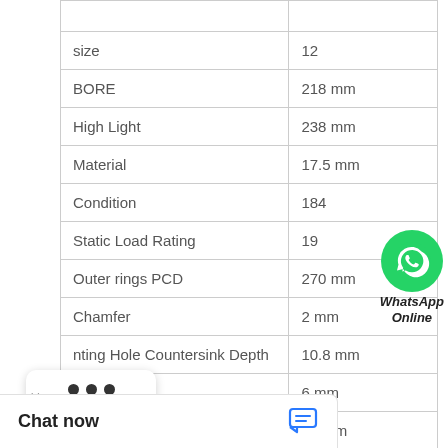| Property | Value |
| --- | --- |
| size | 12 |
| BORE | 218 mm |
| High Light | 238 mm |
| Material | 17.5 mm |
| Condition | 184 |
| Static Load Rating | 19... |
| Outer rings PCD | 270 mm |
| Chamfer | 2 mm |
| nting Hole Countersink Depth | 10.8 mm |
|  | 6 mm |
|  | 35 mm |
[Figure (other): WhatsApp Online button overlay with green circle phone icon and text 'WhatsApp Online']
[Figure (other): Popup card with X close button and three dots menu, plus Chat now bar at bottom with blue chat icon]